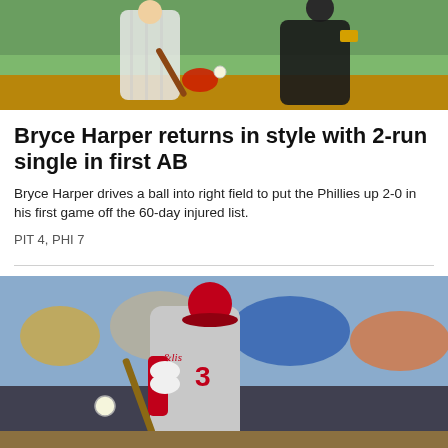[Figure (photo): Baseball game action photo showing a batter swinging, catcher behind the plate, with green field in background]
Bryce Harper returns in style with 2-run single in first AB
Bryce Harper drives a ball into right field to put the Phillies up 2-0 in his first game off the 60-day injured list.
PIT 4, PHI 7
[Figure (photo): Bryce Harper wearing Phillies jersey number 3 in red and grey, swinging a bat at a baseball with crowd in background]
Gamethread 8/26: Pirates at Phillies
Schedule: Sunday, 1:35 EST - 4 or so hours